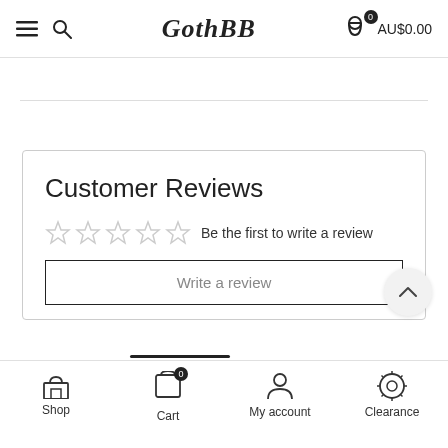GothBB  AU$0.00
Customer Reviews
☆☆☆☆☆  Be the first to write a review
Write a review
Shop  Cart  My account  Clearance